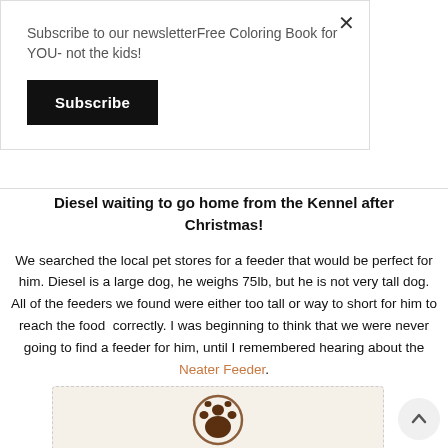Subscribe to our newsletterFree Coloring Book for YOU- not the kids!
Subscribe
Diesel waiting to go home from the Kennel after Christmas!
We searched the local pet stores for a feeder that would be perfect for him. Diesel is a large dog, he weighs 75lb, but he is not very tall dog. All of the feeders we found were either too tall or way to short for him to reach the food  correctly. I was beginning to think that we were never going to find a feeder for him, until I remembered hearing about the Neater Feeder.
[Figure (illustration): Partial view of a product image with a paw print logo/icon on a light beige background with dashed border]